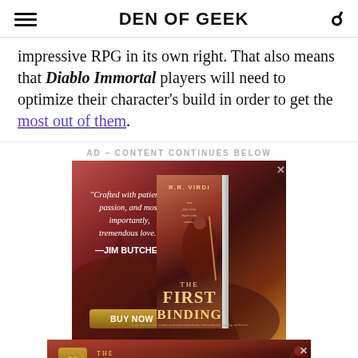DEN OF GEEK
impressive RPG in its own right. That also means that Diablo Immortal players will need to optimize their character's build in order to get the most out of them.
AD – CONTENT CONTINUES BELOW
[Figure (illustration): Advertisement for 'The First Binding' by R.R. Virdi, featuring a book cover with a warrior figure on a reddish mountain backdrop. Quote from Jim Butcher: 'Crafted with patience, passion, and most importantly, tremendous love.' with a BUY NOW button.]
[Figure (illustration): Bottom banner advertisement for 'The First Binding' by R.R. Virdi with buy now scroll icon, FTOS label, and close button.]